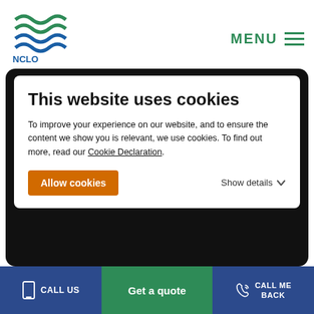[Figure (logo): NCLO organization logo with wave design in blue and green]
MENU
This website uses cookies
To improve your experience on our website, and to ensure the content we show you is relevant, we use cookies. To find out more, read our Cookie Declaration.
Allow cookies    Show details
Barcelona is one of THE BEST places to live in Spain as a British expat for many ...
→ Read More
CALL US    Get a quote    CALL ME BACK